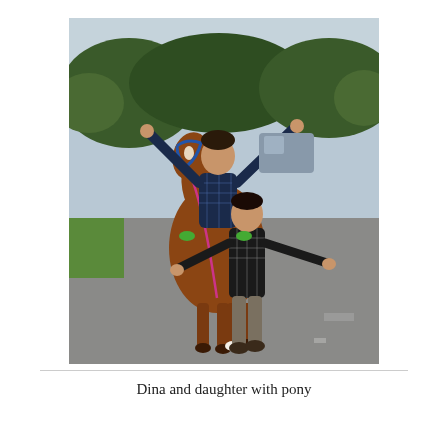[Figure (photo): Two women and a chestnut pony on a road outdoors. One woman sits on the pony with arms raised wide, wearing a plaid shirt. The other woman stands in front of the pony holding its lead rope with one arm extended, also wearing a plaid shirt and grey trousers. Green trees and a grey sky are visible in the background.]
Dina and daughter with pony